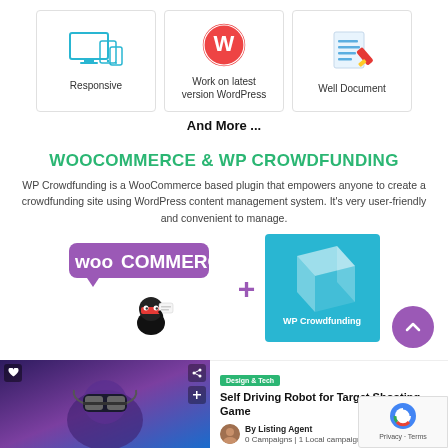[Figure (illustration): Three feature cards in a row: Responsive (icon of devices), Work on latest version WordPress (WordPress logo), Well Document (document with pencil icon)]
And More ...
WOOCOMMERCE & WP CROWDFUNDING
WP Crowdfunding is a WooCommerce based plugin that empowers anyone to create a crowdfunding site using WordPress content management system. It's very user-friendly and convenient to manage.
[Figure (logo): WooCommerce logo with ninja mascot plus WP Crowdfunding logo on teal background]
[Figure (photo): Woman wearing VR headset, with heart and share icons overlay]
Design & Tech
Self Driving Robot for Target Shooting Game
By Listing Agent
0 Campaigns | 1 Local campaigns